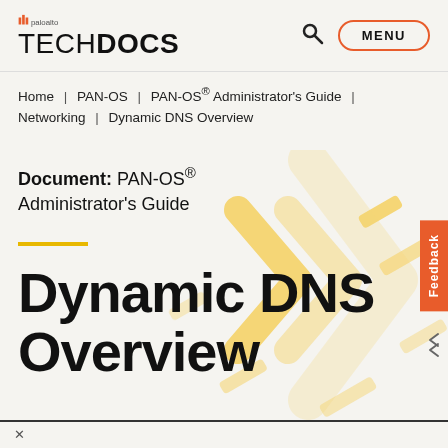paloalto TECHDOCS | MENU
Home | PAN-OS | PAN-OS® Administrator's Guide | Networking | Dynamic DNS Overview
Document: PAN-OS® Administrator's Guide
Dynamic DNS Overview